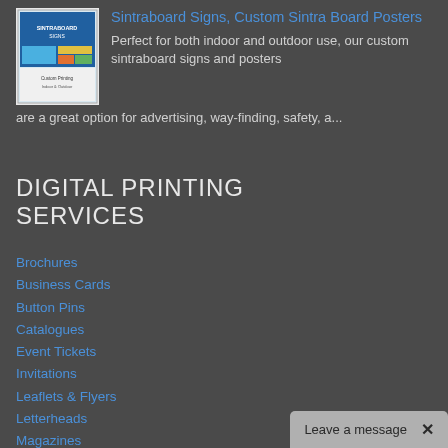[Figure (photo): Product image of a Sintraboard sign brochure/poster with blue and yellow design]
Sintraboard Signs, Custom Sintra Board Posters
Perfect for both indoor and outdoor use, our custom sintraboard signs and posters are a great option for advertising, way-finding, safety, a...
DIGITAL PRINTING SERVICES
Brochures
Business Cards
Button Pins
Catalogues
Event Tickets
Invitations
Leaflets & Flyers
Letterheads
Magazines
Manuals & Handbooks
Menus
Newsletters
Leave a message  ×